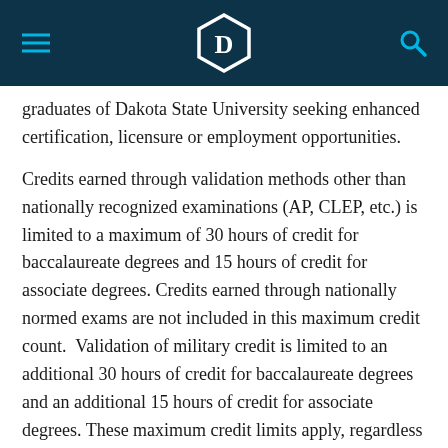Dakota State University header with logo
graduates of Dakota State University seeking enhanced certification, licensure or employment opportunities.
Credits earned through validation methods other than nationally recognized examinations (AP, CLEP, etc.) is limited to a maximum of 30 hours of credit for baccalaureate degrees and 15 hours of credit for associate degrees. Credits earned through nationally normed exams are not included in this maximum credit count.  Validation of military credit is limited to an additional 30 hours of credit for baccalaureate degrees and an additional 15 hours of credit for associate degrees. These maximum credit limits apply, regardless of the number of majors in which the student is enrolled. If credit by examination is